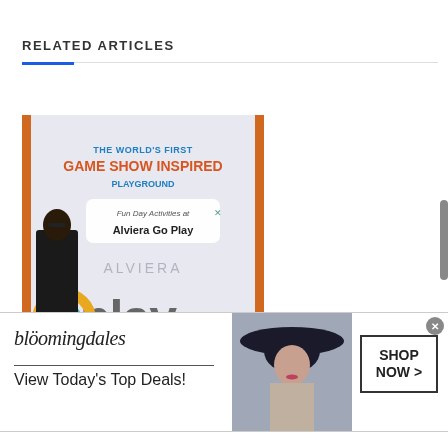RELATED ARTICLES
[Figure (photo): Photo of Alviera Go Play banner showing 'THE WORLD'S FIRST GAME SHOW INSPIRED PLAYGROUND' with a person standing beside it, and 'Fun Day Activities at Alviera Go Play' sign]
Fun Day Activities at Alviera Go Pl...
[Figure (screenshot): Bloomingdale's advertisement banner showing logo, 'View Today's Top Deals!' text, a model wearing a wide-brim hat, and a 'SHOP NOW >' button]